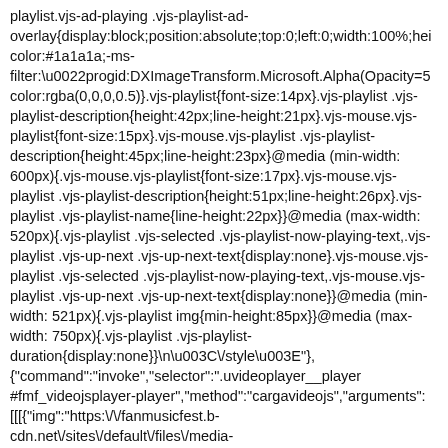playlist.vjs-ad-playing .vjs-playlist-ad-overlay{display:block;position:absolute;top:0;left:0;width:100%;hei color:#1a1a1a;-ms-filter:\u0022progid:DXImageTransform.Microsoft.Alpha(Opacity=5 color:rgba(0,0,0,0.5)}.vjs-playlist{font-size:14px}.vjs-playlist .vjs-playlist-description{height:42px;line-height:21px}.vjs-mouse.vjs-playlist{font-size:15px}.vjs-mouse.vjs-playlist .vjs-playlist-description{height:45px;line-height:23px}@media (min-width: 600px){.vjs-mouse.vjs-playlist{font-size:17px}.vjs-mouse.vjs-playlist .vjs-playlist-description{height:51px;line-height:26px}.vjs-playlist .vjs-playlist-name{line-height:22px}}@media (max-width: 520px){.vjs-playlist .vjs-selected .vjs-playlist-now-playing-text,.vjs-playlist .vjs-up-next .vjs-up-next-text{display:none}.vjs-mouse.vjs-playlist .vjs-selected .vjs-playlist-now-playing-text,.vjs-mouse.vjs-playlist .vjs-up-next .vjs-up-next-text{display:none}}@media (min-width: 521px){.vjs-playlist img{min-height:85px}}@media (max-width: 750px){.vjs-playlist .vjs-playlist-duration{display:none}}\n\u003C\/style\u003E"}, {"command":"invoke","selector":".uvideoplayer__player #fmf_videojsplayer-player","method":"cargavideojs","arguments": [[[{"img":"https:\/\/fanmusicfest.b-cdn.net\/sites\/default\/files\/media-youtube\/5C7sbzU6uOc.jpg","title":"Million Voices","desc":"Videoclip","uri":"youtube:\/\/v\/5C7sbzU6uOc","typ {"img":"https:\/fanmusicfest...